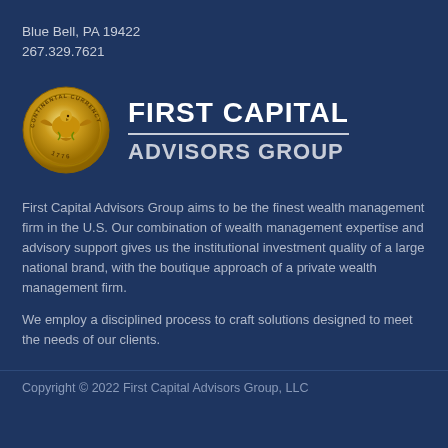Blue Bell, PA 19422
267.329.7621
[Figure (logo): Gold coin logo with eagle and Continental Currency 1776 text]
FIRST CAPITAL
ADVISORS GROUP
First Capital Advisors Group aims to be the finest wealth management firm in the U.S. Our combination of wealth management expertise and advisory support gives us the institutional investment quality of a large national brand, with the boutique approach of a private wealth management firm.
We employ a disciplined process to craft solutions designed to meet the needs of our clients.
Copyright © 2022 First Capital Advisors Group, LLC